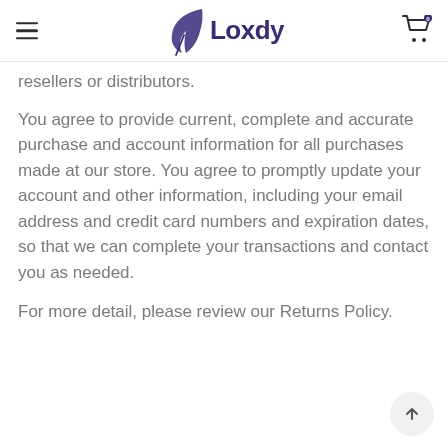Loxdy
resellers or distributors.
You agree to provide current, complete and accurate purchase and account information for all purchases made at our store. You agree to promptly update your account and other information, including your email address and credit card numbers and expiration dates, so that we can complete your transactions and contact you as needed.
For more detail, please review our Returns Policy.